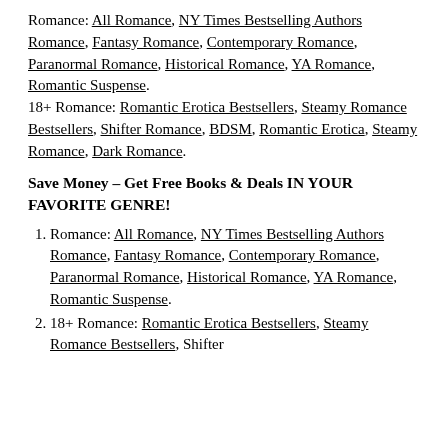Romance: All Romance, NY Times Bestselling Authors Romance, Fantasy Romance, Contemporary Romance, Paranormal Romance, Historical Romance, YA Romance, Romantic Suspense. 18+ Romance: Romantic Erotica Bestsellers, Steamy Romance Bestsellers, Shifter Romance, BDSM, Romantic Erotica, Steamy Romance, Dark Romance.
Save Money – Get Free Books & Deals IN YOUR FAVORITE GENRE!
1. Romance: All Romance, NY Times Bestselling Authors Romance, Fantasy Romance, Contemporary Romance, Paranormal Romance, Historical Romance, YA Romance, Romantic Suspense.
2. 18+ Romance: Romantic Erotica Bestsellers, Steamy Romance Bestsellers, Shifter